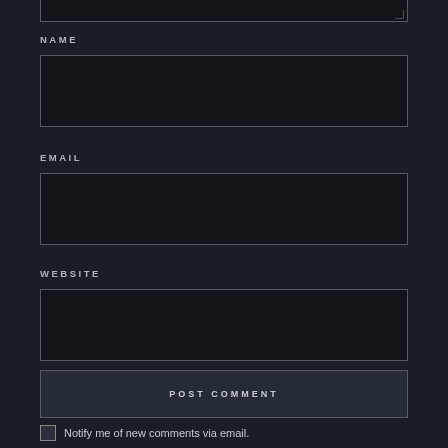NAME
[Figure (screenshot): NAME text input field (empty, dark background)]
EMAIL
[Figure (screenshot): EMAIL text input field (empty, dark background)]
WEBSITE
[Figure (screenshot): WEBSITE text input field (empty, dark background)]
POST COMMENT
Notify me of new comments via email.
Notify me of new posts via email.